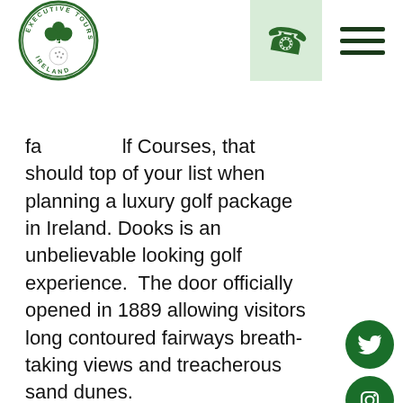[Figure (logo): Executive Tours Ireland circular logo with shamrock and golf imagery]
famous Golf Courses, that should top of your list when planning a luxury golf package in Ireland. Dooks is an unbelievable looking golf experience. The door officially opened in 1889 allowing visitors long contoured fairways breath-taking views and treacherous sand dunes.
[Figure (photo): Dooks Golf Club welcome sign, established 1889, teal decorative sign with wood frame and pillars]
[Figure (other): Twitter social media icon - white bird on green circle]
[Figure (other): Instagram social media icon - camera outline on green circle]
[Figure (other): LinkedIn social media icon - 'in' on green circle]
[Figure (other): Facebook social media icon - 'f' on green circle]
[Figure (other): TripAdvisor social media icon on green circle]